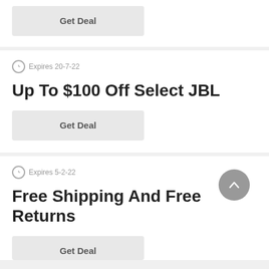[Figure (other): Get Deal button (light gray rounded rectangle)]
Expires 20-7-22
Up To $100 Off Select JBL
[Figure (other): Get Deal button (light gray rounded rectangle)]
Expires 5-2-22
Free Shipping And Free Returns
[Figure (other): Get Deal button (light gray rounded rectangle, partially visible)]